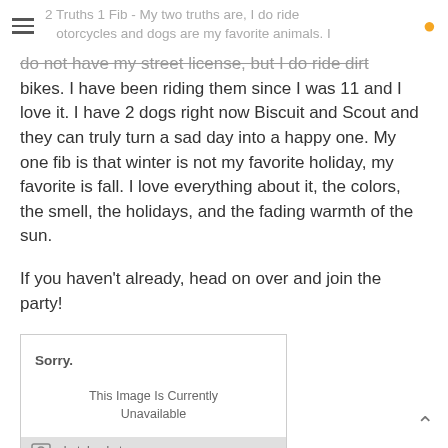2 Truths 1 Fib - My two truths are, I do ride motorcycles and dogs are my favorite animals.
do not have my street license, but I do ride dirt bikes. I have been riding them since I was 11 and I love it. I have 2 dogs right now Biscuit and Scout and they can truly turn a sad day into a happy one. My one fib is that winter is not my favorite holiday, my favorite is fall. I love everything about it, the colors, the smell, the holidays, and the fading warmth of the sun.
If you haven't already, head on over and join the party!
[Figure (other): Photobucket placeholder image saying 'Sorry. This Image Is Currently Unavailable' with a photobucket logo footer.]